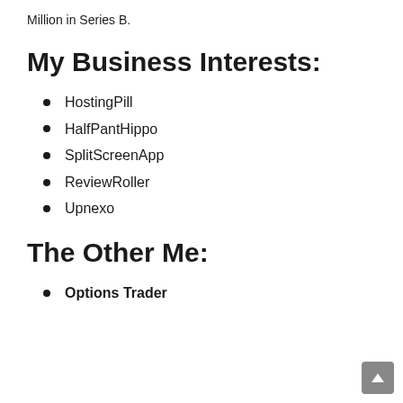Million in Series B.
My Business Interests:
HostingPill
HalfPantHippo
SplitScreenApp
ReviewRoller
Upnexo
The Other Me:
Options Trader